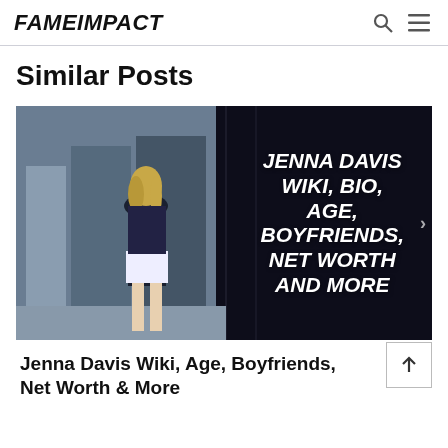FAMEIMPACT
Similar Posts
[Figure (photo): Promotional image for Jenna Davis Wiki article: young blonde woman in black top and white shorts standing in front of a building, with bold italic white text overlay reading 'JENNA DAVIS WIKI, BIO, AGE, BOYFRIENDS, NET WORTH AND MORE']
Jenna Davis Wiki, Age, Boyfriends, Net Worth & More